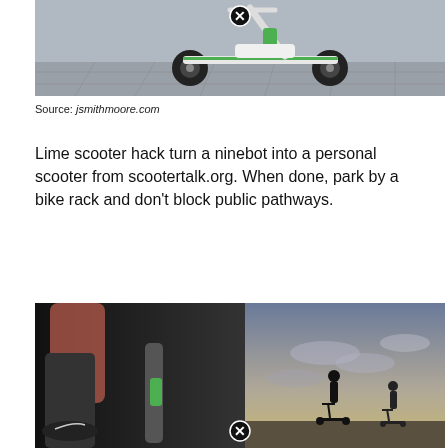[Figure (photo): A Lime electric scooter (green and white ninebot) parked on a tiled outdoor surface, viewed from the side. A black circle with an X icon appears at the top center of the image.]
Source: jsmithmoore.com
Lime scooter hack turn a ninebot into a personal scooter from scootertalk.org. When done, park by a bike rack and don't block public pathways.
[Figure (photo): Two silhouetted people riding scooters against a sunset sky on the right side, and a close-up blurred view of a person's legs and a Lime scooter handlebar on the left side. A black circle with an X icon appears at the bottom center of the image.]